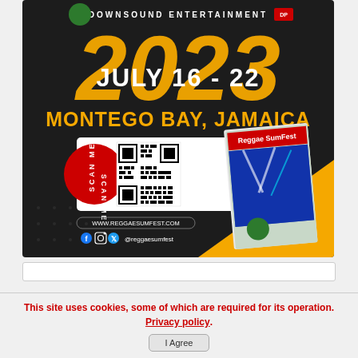[Figure (illustration): Reggae Sumfest 2023 advertisement. Dark background with large gold '2023' text and white 'JULY 16-22' overlaid. 'DOWNSOUND ENTERTAINMENT' at top. 'MONTEGO BAY, JAMAICA' in gold bold text. QR code with red 'SCAN ME' panel on left. Magazine cover image on right. Website: www.reggaesumfest.com. Social: @reggaesumfest with Facebook, Instagram, Twitter icons.]
This site uses cookies, some of which are required for its operation. Privacy policy. I Agree